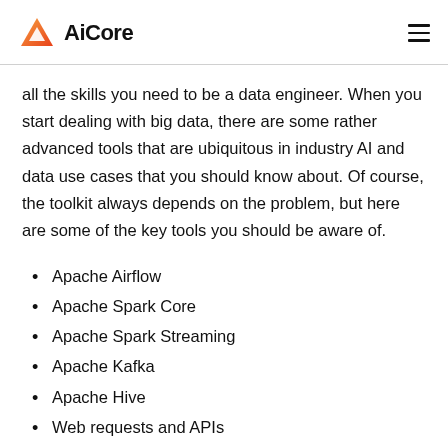AiCore
all the skills you need to be a data engineer. When you start dealing with big data, there are some rather advanced tools that are ubiquitous in industry AI and data use cases that you should know about. Of course, the toolkit always depends on the problem, but here are some of the key tools you should be aware of.
Apache Airflow
Apache Spark Core
Apache Spark Streaming
Apache Kafka
Apache Hive
Web requests and APIs